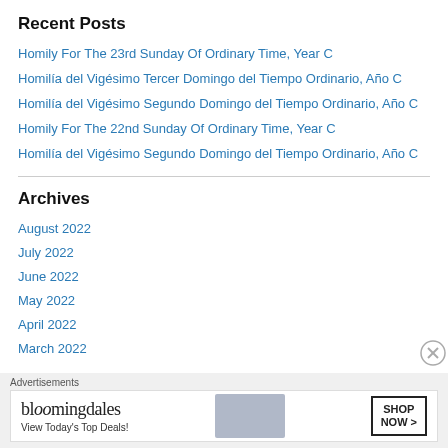Recent Posts
Homily For The 23rd Sunday Of Ordinary Time, Year C
Homilía del Vigésimo Tercer Domingo del Tiempo Ordinario, Año C
Homilía del Vigésimo Segundo Domingo del Tiempo Ordinario, Año C
Homily For The 22nd Sunday Of Ordinary Time, Year C
Homilía del Vigésimo Segundo Domingo del Tiempo Ordinario, Año C
Archives
August 2022
July 2022
June 2022
May 2022
April 2022
March 2022
Advertisements
[Figure (other): Bloomingdale's advertisement banner with woman in hat and 'SHOP NOW >' button]